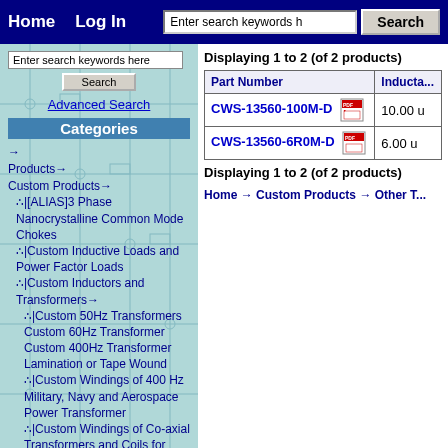Home  Log In  [search bar]  Search
Enter search keywords here
Search
Advanced Search
Categories
→
Products→
Custom Products→
∴|[ALIAS]3 Phase Nanocrystalline Common Mode Chokes
∴|Custom Inductive Loads and Power Factor Loads
∴|Custom Inductors and Transformers→
∴|Custom 50Hz Transformers
Custom 60Hz Transformer
Custom 400Hz Transformer
Lamination or Tape Wound
∴|Custom Windings of 400 Hz Military, Navy and Aerospace Power Transformer
∴|Custom Windings of Co-axial Transformers and Coils for very
Displaying 1 to 2 (of 2 products)
| Part Number | Inducta... |
| --- | --- |
| CWS-13560-100M-D [PDF] | 10.00 u |
| CWS-13560-6R0M-D [PDF] | 6.00 u |
Displaying 1 to 2 (of 2 products)
Home → Custom Products → Other T...